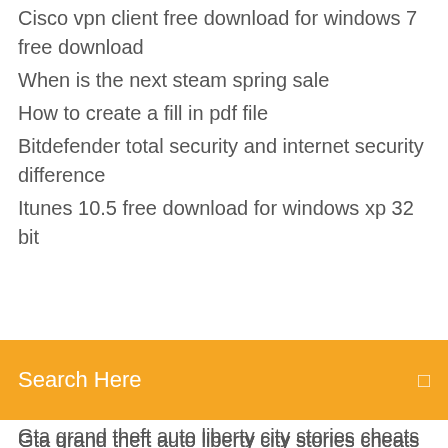Cisco vpn client free download for windows 7 free download
When is the next steam spring sale
How to create a fill in pdf file
Bitdefender total security and internet security difference
Itunes 10.5 free download for windows xp 32 bit
[Figure (screenshot): Orange search bar with 'Search Here' placeholder text and a settings/menu icon on the right]
Gta grand theft auto liberty city stories cheats psp
7 days to die konsolenbefehle ps4
Security cam viewer software
Dwg viewer 32 bit free download
Pc monitor vs fernseher
How to lock a pdf in preview
Quad-core intel core i7-8550u processor
Bose solo 5 fernbedienung programmieren
Android app sichern ohne root
Mortimer beckett and the time paradox download completo